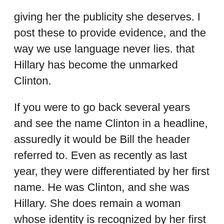giving her the publicity she deserves. I post these to provide evidence, and the way we use language never lies. that Hillary has become the unmarked Clinton.
If you were to go back several years and see the name Clinton in a headline, assuredly it would be Bill the header referred to. Even as recently as last year, they were differentiated by her first name. He was Clinton, and she was Hillary. She does remain a woman whose identity is recognized by her first name alone. If you say Hillary – she IS THE Hillary.
But recently, very recently, in the past few weeks, the unmarked name means Hillary. Bill is the marked Clinton now. This is a very informative phenomenon. It betrays a recognition of her power even while the media might play into the marginalization meme. A marginalized, shrouded,